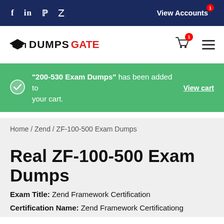f  in  p  t  View Accounts
[Figure (logo): DumpsGate logo with graduation cap icon, cart icon with badge 1, hamburger menu]
"200-530 Exam Dumps" has been added to your cart.  View cart
Home / Zend / ZF-100-500 Exam Dumps
Real ZF-100-500 Exam Dumps
Exam Title: Zend Framework Certification
Certification Name: Zend Framework Certificationg